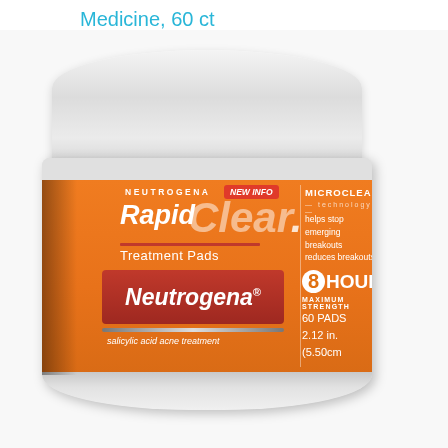Medicine, 60 ct
[Figure (photo): Neutrogena Rapid Clear Treatment Pads jar with orange label. Label shows: NEUTROGENA, NEW INFO badge, Rapid Clear, Treatment Pads, Neutrogena brand in red box, salicylic acid acne treatment, MICROCLEAR technology, helps stop emerging breakouts, reduces breakouts, 8 HOURS MAXIMUM STRENGTH, 60 PADS, 2.12 in. (5.50cm)]